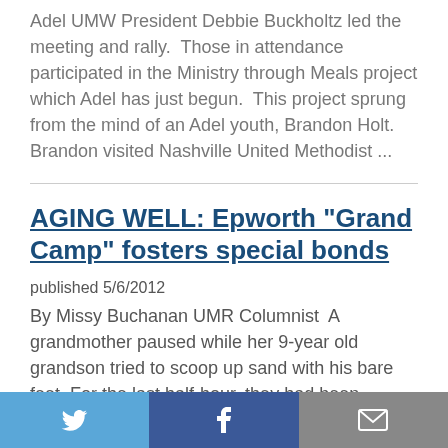Adel UMW President Debbie Buckholtz led the meeting and rally.  Those in attendance participated in the Ministry through Meals project which Adel has just begun.  This project sprung from the mind of an Adel youth, Brandon Holt.  Brandon visited Nashville United Methodist ...
AGING WELL: Epworth "Grand Camp" fosters special bonds
published 5/6/2012
By Missy Buchanan UMR Columnist  A grandmother paused while her 9-year old grandson tried to scoop up sand with his bare feet. For the last half-hour, they had been